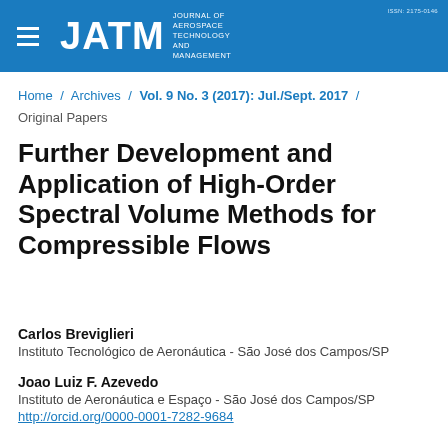JATM — Journal of Aerospace Technology and Management — ISSN: 2175-0146
Home / Archives / Vol. 9 No. 3 (2017): Jul./Sept. 2017 / Original Papers
Further Development and Application of High-Order Spectral Volume Methods for Compressible Flows
Carlos Breviglieri
Instituto Tecnológico de Aeronáutica - São José dos Campos/SP
Joao Luiz F. Azevedo
Instituto de Aeronáutica e Espaço - São José dos Campos/SP
http://orcid.org/0000-0001-7282-9684